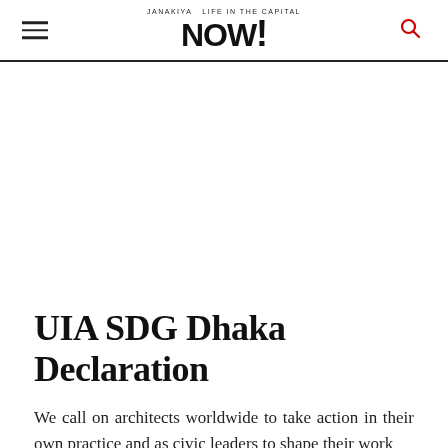JANAKIYA NOW!
[Figure (other): Advertisement or blank white space area below the navigation header]
UIA SDG Dhaka Declaration
We call on architects worldwide to take action in their own practice and as civic leaders to shape their work